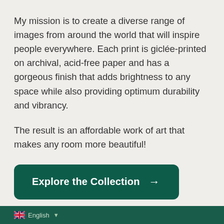My mission is to create a diverse range of images from around the world that will inspire people everywhere. Each print is giclée-printed on archival, acid-free paper and has a gorgeous finish that adds brightness to any space while also providing optimum durability and vibrancy.
The result is an affordable work of art that makes any room more beautiful!
Explore the Collection →
🇬🇧 English ▾